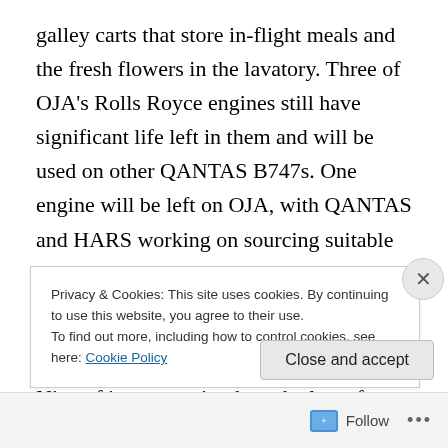galley carts that store in-flight meals and the fresh flowers in the lavatory. Three of OJA's Rolls Royce engines still have significant life left in them and will be used on other QANTAS B747s. One engine will be left on OJA, with QANTAS and HARS working on sourcing suitable replacements over time.
Over the past few years, QANTAS has been gradually retiring its older B747s. Nine of its newest jumbos, the last of which was delivered in 2003, have been refurbished and will continue flying into the future. Since 2008,
Privacy & Cookies: This site uses cookies. By continuing to use this website, you agree to their use.
To find out more, including how to control cookies, see here: Cookie Policy
Close and accept
Follow ...